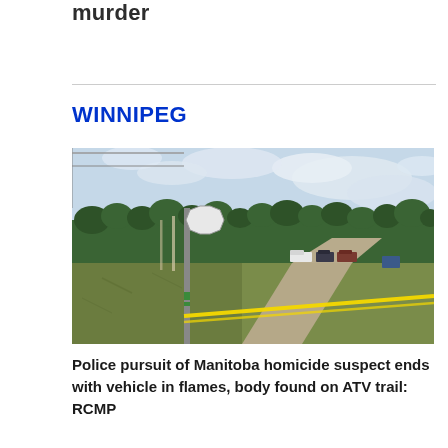murder
WINNIPEG
[Figure (photo): A rural gravel road intersection with a stop sign in the foreground, yellow police tape strung across, and several vehicles parked in the background amid trees and open grassy area under a partly cloudy sky.]
Police pursuit of Manitoba homicide suspect ends with vehicle in flames, body found on ATV trail: RCMP